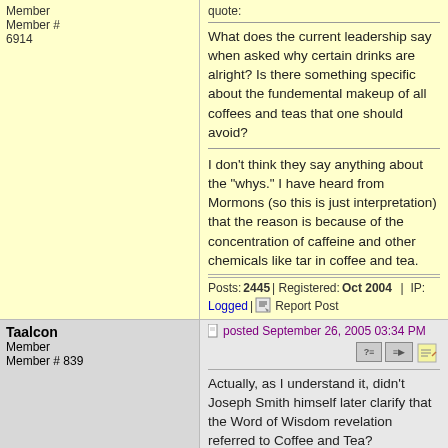Member
Member # 6914
quote:
What does the current leadership say when asked why certain drinks are alright? Is there something specific about the fundemental makeup of all coffees and teas that one should avoid?
I don't think they say anything about the "whys." I have heard from Mormons (so this is just interpretation) that the reason is because of the concentration of caffeine and other chemicals like tar in coffee and tea.
Posts: 2445 | Registered: Oct 2004 | IP: Logged | Report Post
Taalcon
Member
Member # 839
posted September 26, 2005 03:34 PM
Actually, as I understand it, didn't Joseph Smith himself later clarify that the Word of Wisdom revelation referred to Coffee and Tea?
Posts: 2689 | Registered: Apr 2000 | IP: Logged | Report Post
mr_porteiro_head
Member
Member # 4644
posted September 26, 2005 03:37 PM
I'm not sure who it was that clarified it. To us, it doen't really matter matter, since Brigham Young and all the other presidents of the church down to